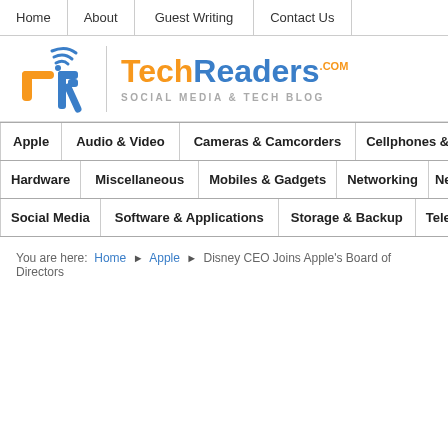Home | About | Guest Writing | Contact Us
[Figure (logo): TechReaders.com Social Media & Tech Blog logo with TR icon]
Apple | Audio & Video | Cameras & Camcorders | Cellphones & Telephones | Hardware | Miscellaneous | Mobiles & Gadgets | Networking | News | Social Media | Software & Applications | Storage & Backup | Telecom
You are here: Home > Apple > Disney CEO Joins Apple's Board of Directors